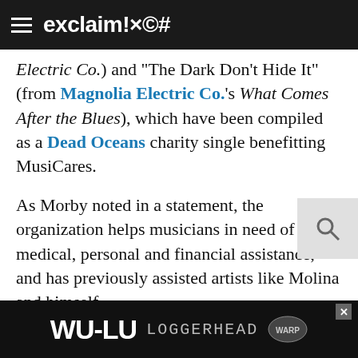exclaim!×©#
Electric Co.) and "The Dark Don't Hide It" (from Magnolia Electric Co.'s What Comes After the Blues), which have been compiled as a Dead Oceans charity single benefitting MusiCares.
As Morby noted in a statement, the organization helps musicians in need of medical, personal and financial assistance, and has previously assisted artists like Molina and himself.
Morby's full statement reads:
My love for Jason Molina began only a few years ago. I had overlooked him for years, too overwhelmed by his many monikers and sprawling catalogue. Then on a European tour I discovered Songs: Ohia and Magnolia Electric Company and my mind was blown — and so began my
[Figure (other): WU-LU LOGGERHEAD advertisement banner with close button]